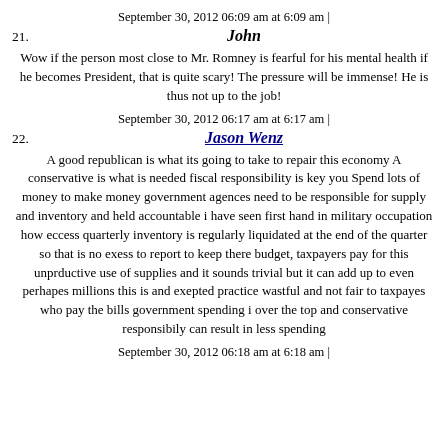September 30, 2012 06:09 am at 6:09 am |
21.   John
Wow if the person most close to Mr. Romney is fearful for his mental health if he becomes President, that is quite scary! The pressure will be immense! He is thus not up to the job!
September 30, 2012 06:17 am at 6:17 am |
22.   Jason Wenz
A good republican is what its going to take to repair this economy A conservative is what is needed fiscal responsibility is key you Spend lots of money to make money government agences need to be responsible for supply and inventory and held accountable i have seen first hand in military occupation how eccess quarterly inventory is regularly liquidated at the end of the quarter so that is no exess to report to keep there budget, taxpayers pay for this unprductive use of supplies and it sounds trivial but it can add up to even perhapes millions this is and exepted practice wastful and not fair to taxpayes who pay the bills government spending i over the top and conservative responsibily can result in less spending
September 30, 2012 06:18 am at 6:18 am |